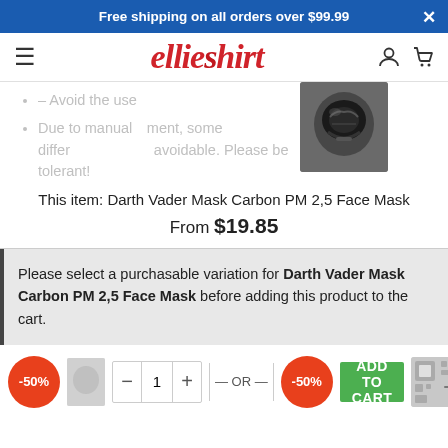Free shipping on all orders over $99.99
[Figure (logo): ellieShirt store logo in red italic script font]
– Avoid the use...
Due to manual measurement, some differences are unavoidable. Please be tolerant!
[Figure (photo): Darth Vader Mask Carbon PM 2,5 Face Mask product image]
This item: Darth Vader Mask Carbon PM 2,5 Face Mask
From $19.85
Please select a purchasable variation for Darth Vader Mask Carbon PM 2,5 Face Mask before adding this product to the cart.
- OR - ADD TO CART -50% -50%